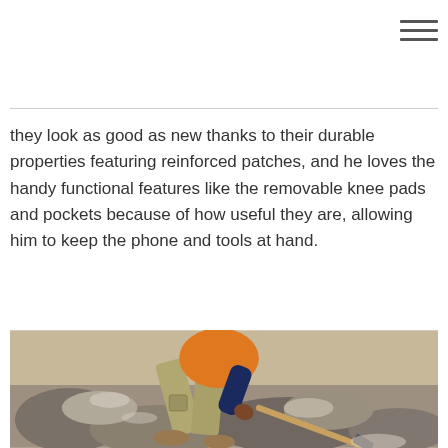[hamburger menu icon]
they look as good as new thanks to their durable properties featuring reinforced patches, and he loves the handy functional features like the removable knee pads and pockets because of how useful they are, allowing him to keep the phone and tools at hand.
[Figure (photo): A man wearing an orange shirt and khaki cargo pants bent forward working with a pickaxe or shovel among large rocks and boulders in a dusty, rocky outdoor environment.]